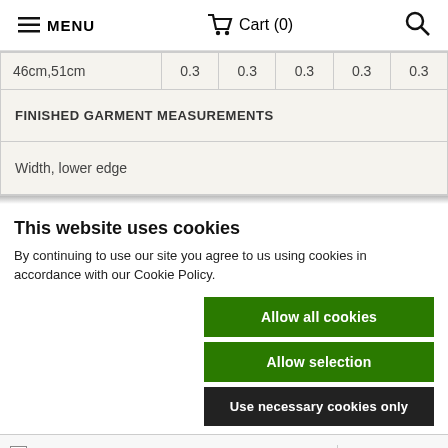≡ MENU  🛒 Cart (0)  🔍
| 46cm,51cm | 0.3 | 0.3 | 0.3 | 0.3 | 0.3 |
| FINISHED GARMENT MEASUREMENTS |  |  |  |  |  |
| Width, lower edge |  |  |  |  |  |
This website uses cookies
By continuing to use our site you agree to us using cookies in accordance with our Cookie Policy.
Allow all cookies
Allow selection
Use necessary cookies only
✓ Necessary  ✓ Preferences  ✓ Statistics  ☐ Marketing  Show details ▾